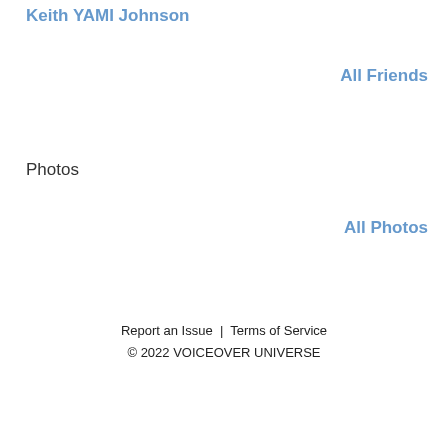Keith YAMI Johnson
All Friends
Photos
All Photos
Report an Issue  |  Terms of Service
© 2022 VOICEOVER UNIVERSE